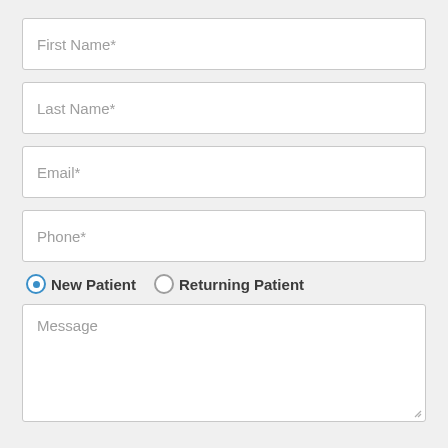First Name*
Last Name*
Email*
Phone*
New Patient (selected) | Returning Patient
Message